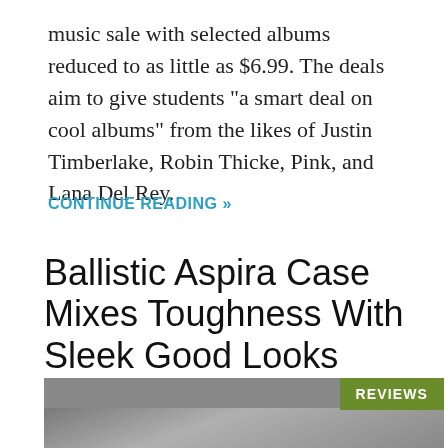music sale with selected albums reduced to as little as $6.99. The deals aim to give students “a smart deal on cool albums” from the likes of Justin Timberlake, Robin Thicke, Pink, and Lana Del Rey.
CONTINUE READING »
Ballistic Aspira Case Mixes Toughness With Sleek Good Looks [Review]
BY CHARLIE SORREL • 11:30 AM, APRIL 24, 2013
[Figure (photo): Photo with a green 'REVIEWS' label badge in the top right corner, showing a partial image of a phone case.]